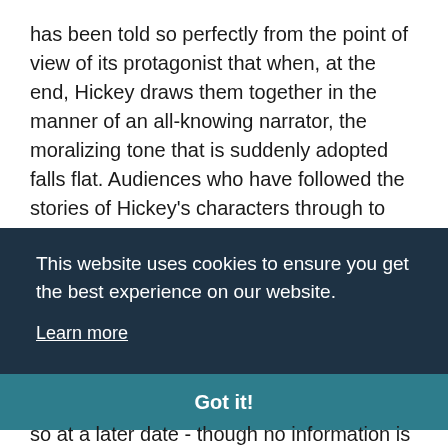has been told so perfectly from the point of view of its protagonist that when, at the end, Hickey draws them together in the manner of an all-knowing narrator, the moralizing tone that is suddenly adopted falls flat. Audiences who have followed the stories of Hickey's characters through to the end of the play will already realize that the binding tie between the Protestant characters is their willingness to question, and their deep-seated faith, without being told it in so many words, with
This website uses cookies to ensure you get the best experience on our website.
Learn more
Got it!
so at a later date - though no information is